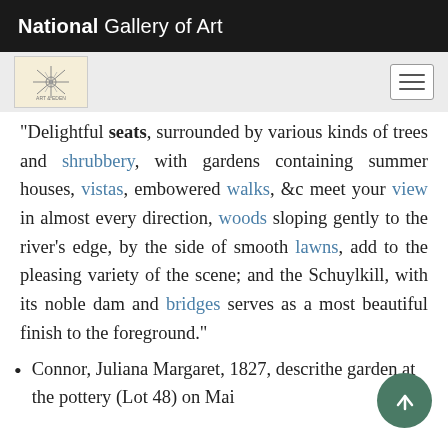National Gallery of Art
"Delightful seats, surrounded by various kinds of trees and shrubbery, with gardens containing summer houses, vistas, embowered walks, &c meet your view in almost every direction, woods sloping gently to the river’s edge, by the side of smooth lawns, add to the pleasing variety of the scene; and the Schuylkill, with its noble dam and bridges serves as a most beautiful finish to the foreground.”
Connor, Juliana Margaret, 1827, descri[bes] the garden at the pottery (Lot 48) on Mai[n]